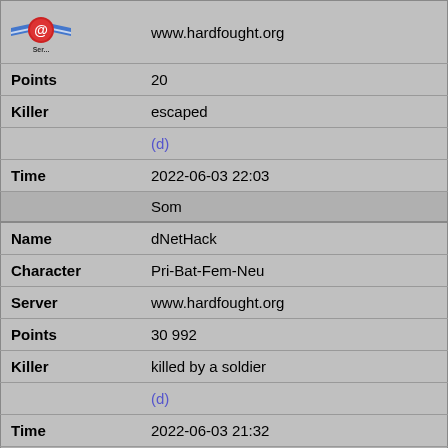| Server [logo] | www.hardfought.org |
| Points | 20 |
| Killer | escaped |
|  | (d) |
| Time | 2022-06-03 22:03 |
|  | Som |
| Name | dNetHack |
| Character | Pri-Bat-Fem-Neu |
| Server | www.hardfought.org |
| Points | 30992 |
| Killer | killed by a soldier |
|  | (d) |
| Time | 2022-06-03 21:32 |
|  | Som |
| Name | dNetHack |
| Character | Pri-Bat-Fem-Neu |
| Server | www.hardfought.org |